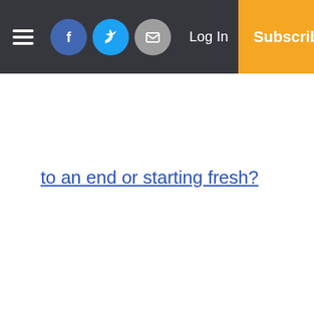Navigation bar with hamburger menu, newspaper logo, Facebook icon, Twitter icon, email icon, Log In, Subscribe
to an end or starting fresh?